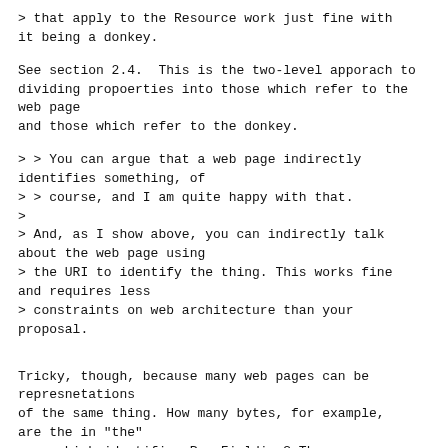> that apply to the Resource work just fine with
it being a donkey.
See section 2.4.  This is the two-level apporach to
dividing propoerties into those which refer to the web page
and those which refer to the donkey.
> > You can argue that a web page indirectly
identifies something, of
> > course, and I am quite happy with that.
>
> And, as I show above, you can indirectly talk
about the web page using
> the URI to identify the thing. This works fine
and requires less
> constraints on web architecture than your
proposal.
Tricky, though, because many web pages can be
represnetations
of the same thing. How many bytes, for example,
are the in "the"
page which identifies Roy Fielding? There are many
such pages.
It would require a constraint on the web
architecture that